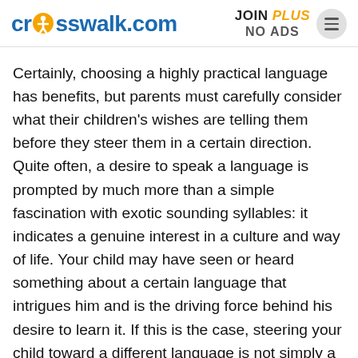crosswalk.com | JOIN PLUS NO ADS
Certainly, choosing a highly practical language has benefits, but parents must carefully consider what their children's wishes are telling them before they steer them in a certain direction. Quite often, a desire to speak a language is prompted by much more than a simple fascination with exotic sounding syllables: it indicates a genuine interest in a culture and way of life. Your child may have seen or heard something about a certain language that intrigues him and is the driving force behind his desire to learn it. If this is the case, steering your child toward a different language is not simply a matter of substituting one set of foreign words for another at all—it is a matter of trying to shift his interest, which is usually a difficult task! Gauging your child's interest in a language is very important, because it can often mean the difference between success and